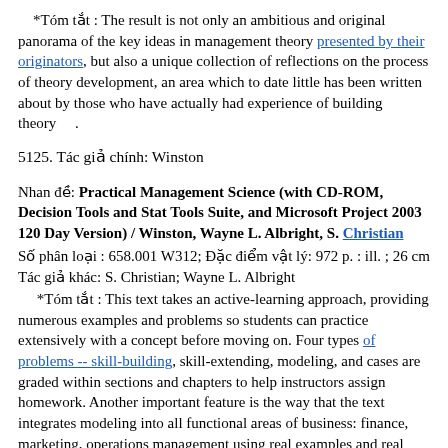*Tóm tắt : The result is not only an ambitious and original panorama of the key ideas in management theory presented by their originators, but also a unique collection of reflections on the process of theory development, an area which to date little has been written about by those who have actually had experience of building theory .
5125. Tác giả chính: Winston
Nhan đề: Practical Management Science (with CD-ROM, Decision Tools and Stat Tools Suite, and Microsoft Project 2003 120 Day Version) / Winston, Wayne L. Albright, S. Christian
Số phân loại : 658.001 W312; Đặc điểm vật lý: 972 p. : ill. ; 26 cm
Tác giả khác: S. Christian; Wayne L. Albright
*Tóm tắt : This text takes an active-learning approach, providing numerous examples and problems so students can practice extensively with a concept before moving on. Four types of problems -- skill-building, skill-extending, modeling, and cases are graded within sections and chapters to help instructors assign homework. Another important feature is the way that the text integrates modeling into all functional areas of business: finance, marketing, operations management using real examples and real